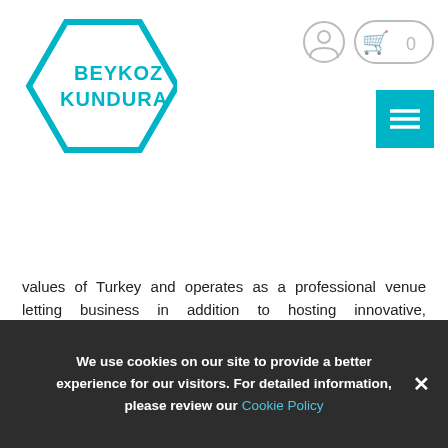[Figure (logo): Beykoz Kundura hexagonal logo in cyan/teal color]
values of Turkey and operates as a professional venue letting business in addition to hosting innovative, interdisciplinary cultural artworks.

This industrial space which had been active from the Ottoman era to the Republic is a cultural heritage with undisputed value due to its contribution to the Turkish economy. Acting as a melting pot where creative ideas are formed while being inspired by the nostalgia of the former factory space set up in a land of 183 decare, Beykoz Kundura maintains its majestic existence on the
We use cookies on our site to provide a better experience for our visitors. For detailed information, please review our Cookie Policy